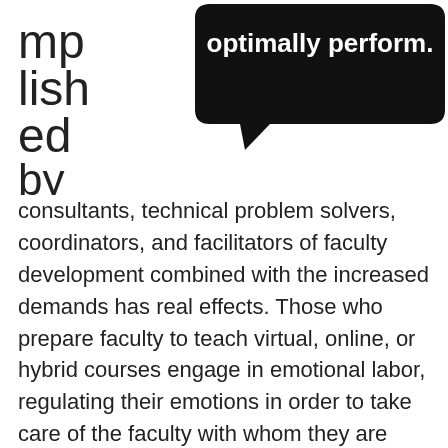[Figure (illustration): A speech bubble (black, filled) with white text reading 'optimally perform.' positioned in the upper right. To the left of the bubble, partial text letters 'mp', 'lish', 'ed', 'by' appear in a large font as if cut off by the layout, forming part of the word 'accomplished by'.]
consultants, technical problem solvers, coordinators, and facilitators of faculty development combined with the increased demands has real effects. Those who prepare faculty to teach virtual, online, or hybrid courses engage in emotional labor, regulating their emotions in order to take care of the faculty with whom they are helping, similar to that of healthcare professionals caring for patients.
The task demand for those in our profession during these times required fast-tracking faculty development and speeding up course